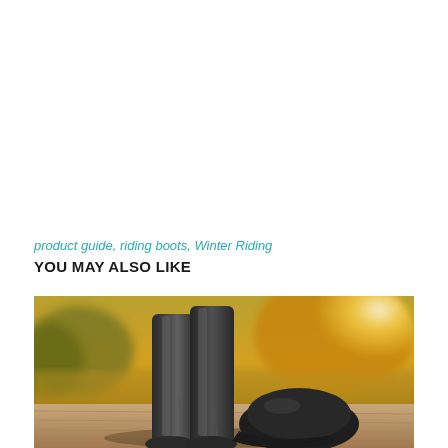product guide, riding boots, Winter Riding
YOU MAY ALSO LIKE
[Figure (photo): Pair of tall black riding boots standing upright on a wooden surface, with a black equestrian helmet beside them, set against a blurred golden-hued outdoor background with trees and fields.]